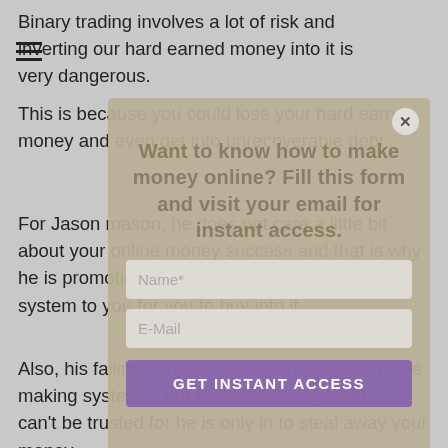Binary trading involves a lot of risk and inverting our hard earned money into it is very dangerous.
This is because you could lose your hard earn money and even get into unrecoverable debt.
For Jason mason, he does not care a little bit about your online money success and that is why he is promoting this fake online money making system to you for you to buy into it.
Also, his failing to make you aware that this noise making system is not free is clear sign that he can't be trusted for he is only in to steal away your money.
[Figure (screenshot): Modal popup overlay on a webpage with tan/beige background. Contains text 'Want to know how to make money online? Fill this form and visit your email for instant access.' with Name and E-Mail input fields and a purple 'GET INSTANT ACCESS' button, plus an X close button in top right corner.]